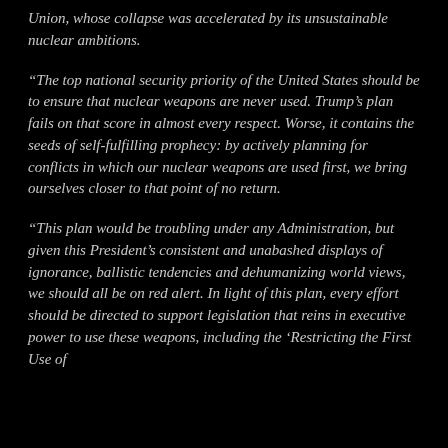Union, whose collapse was accelerated by its unsustainable nuclear ambitions.
“The top national security priority of the United States should be to ensure that nuclear weapons are never used. Trump’s plan fails on that score in almost every respect. Worse, it contains the seeds of self-fulfilling prophecy: by actively planning for conflicts in which our nuclear weapons are used first, we bring ourselves closer to that point of no return.
“This plan would be troubling under any Administration, but given this President’s consistent and unabashed displays of ignorance, ballistic tendencies and dehumanizing world views, we should all be on red alert. In light of this plan, every effort should be directed to support legislation that reins in executive power to use these weapons, including the ‘Restricting the First Use of...